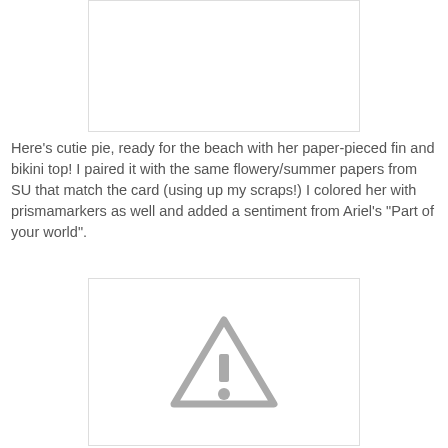[Figure (photo): Top image placeholder, white rectangle with light border (image of cutie pie card/craft)]
Here's cutie pie, ready for the beach with her paper-pieced fin and bikini top!  I paired it with the same flowery/summer papers from SU that match the card (using up my scraps!)  I colored her with prismamarkers as well and added a sentiment from Ariel's "Part of your world".
[Figure (photo): Bottom image placeholder with warning triangle icon indicating image cannot be displayed]